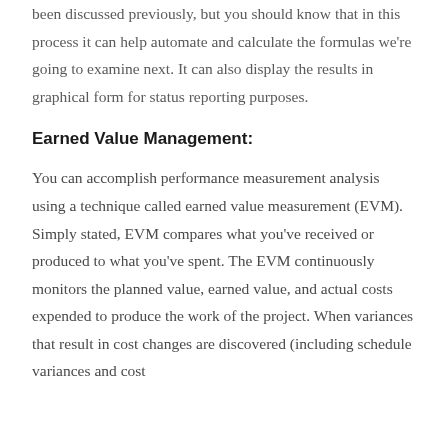been discussed previously, but you should know that in this process it can help automate and calculate the formulas we're going to examine next. It can also display the results in graphical form for status reporting purposes.
Earned Value Management:
You can accomplish performance measurement analysis using a technique called earned value measurement (EVM). Simply stated, EVM compares what you've received or produced to what you've spent. The EVM continuously monitors the planned value, earned value, and actual costs expended to produce the work of the project. When variances that result in cost changes are discovered (including schedule variances and cost